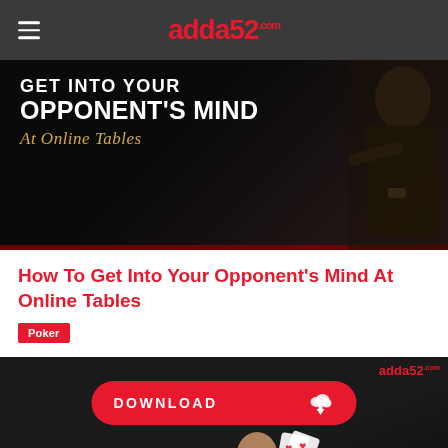adda52.com
[Figure (photo): Dark promotional banner showing a man leaning over a table with text 'GET INTO YOUR OPPONENT'S MIND At Online Tables' in white and gold on black background]
How To Get Into Your Opponent's Mind At Online Tables
Poker
[Figure (screenshot): Dark banner advertisement for adda52.com showing a DOWNLOAD button with cloud/spade icon, and a man holding playing cards (aces)]